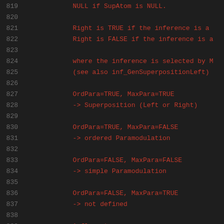819    NULL if SupAtom is NULL.
820
821        Right is TRUE if the inference is a
822        Right is FALSE if the inference is a
823
824        where the inference is selected by M
825        (see also inf_GenSuperpositionLeft)
826
827        OrdPara=TRUE, MaxPara=TRUE
828        -> Superposition (Left or Right)
829
830        OrdPara=TRUE, MaxPara=FALSE
831        -> ordered Paramodulation
832
833        OrdPara=FALSE, MaxPara=FALSE
834        -> simple Paramodulation
835
836        OrdPara=FALSE, MaxPara=TRUE
837        -> not defined
838
839        A flag store.